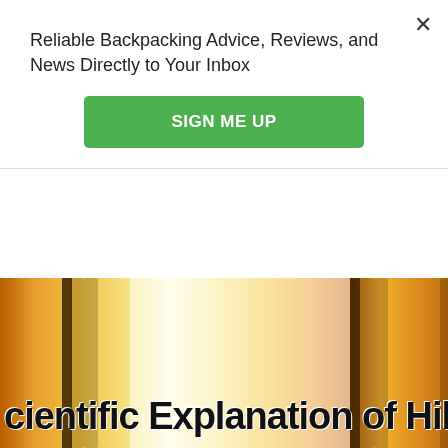Reliable Backpacking Advice, Reviews, and News Directly to Your Inbox
SIGN ME UP
For most of us who seek the adventure, freedom and beauty of places like the Appalachian Trail, a pristine view off of a mountain peak is the
FEB 26, 2015 : CARLIE GENTRY
[Figure (photo): Partial image showing text overlay reading 'cientific Explanation of Hiker Tr' over a warm yellow/orange background resembling curtains or a backlit scene]